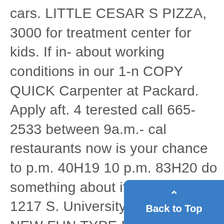cars. LITTLE CESAR S PIZZA, 3000 for treatment center for kids. If in- about working conditions in our 1-n COPY QUICK Carpenter at Packard. Apply aft. 4 terested call 665-2533 between 9a.m.- cal restaurants now is your chance to p.m. 40H19 10 p.m. 83H20 do something about it. Call Marcia 1217 S. University 769-0560 NEW FUN TYPE Restaurant now hiring HISTORY MAJOR: Jacksonian Demo- c/o the Daily or at 761-4281. dF20 cFtc 100 full-time and part-time em Research, excellent pay. Bart, F
[Figure (other): Back to Top button — a blue rounded rectangle with an upward arrow icon and the text 'Back to Top']